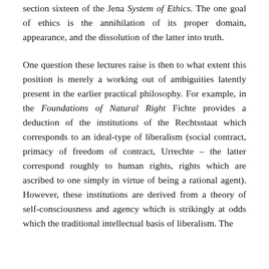section sixteen of the Jena System of Ethics. The one goal of ethics is the annihilation of its proper domain, appearance, and the dissolution of the latter into truth.
One question these lectures raise is then to what extent this position is merely a working out of ambiguities latently present in the earlier practical philosophy. For example, in the Foundations of Natural Right Fichte provides a deduction of the institutions of the Rechtsstaat which corresponds to an ideal-type of liberalism (social contract, primacy of freedom of contract, Urrechte – the latter correspond roughly to human rights, rights which are ascribed to one simply in virtue of being a rational agent). However, these institutions are derived from a theory of self-consciousness and agency which is strikingly at odds which the traditional intellectual basis of liberalism. The